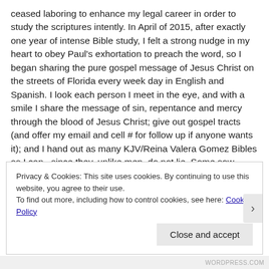ceased laboring to enhance my legal career in order to study the scriptures intently. In April of 2015, after exactly one year of intense Bible study, I felt a strong nudge in my heart to obey Paul's exhortation to preach the word, so I began sharing the pure gospel message of Jesus Christ on the streets of Florida every week day in English and Spanish. I look each person I meet in the eye, and with a smile I share the message of sin, repentance and mercy through the blood of Jesus Christ; give out gospel tracts (and offer my email and cell # for follow up if anyone wants it); and I hand out as many KJV/Reina Valera Gomez Bibles as I can...since they, unlike men, do not lie. Some sow, some water, but it is God who gives the increase. Time is short...preach the simple gospel of Jesus Christ in gentleness, in truth and in the power of the Holy Spirit, for it alone is the power of God unto salvation. Romans 1:16 I don't explain what I do because I think I'm great. I share it because I know what a
Privacy & Cookies: This site uses cookies. By continuing to use this website, you agree to their use. To find out more, including how to control cookies, see here: Cookie Policy
Close and accept